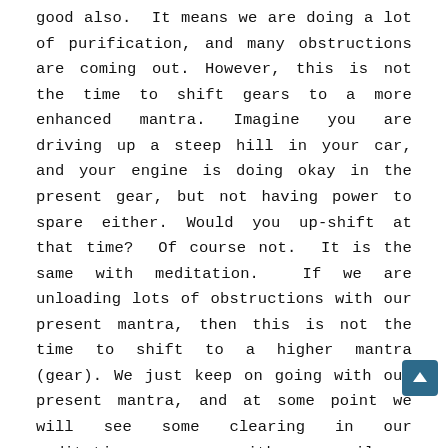good also. It means we are doing a lot of purification, and many obstructions are coming out. However, this is not the time to shift gears to a more enhanced mantra. Imagine you are driving up a steep hill in your car, and your engine is doing okay in the present gear, but not having power to spare either. Would you up-shift at that time? Of course not. It is the same with meditation. If we are unloading lots of obstructions with our present mantra, then this is not the time to shift to a higher mantra (gear). We just keep on going with our present mantra, and at some point we will see some clearing in our meditation process, with more silence coming up and fewer obstructions coming out. After some time in that situation, at least a few months, then